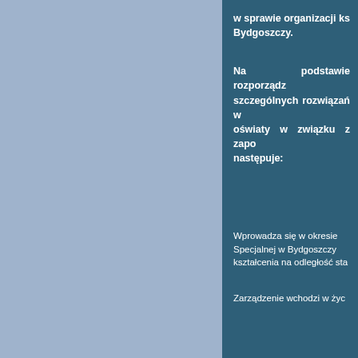w sprawie organizacji ks… Bydgoszczy.
Na podstawie rozporządz… szczególnych rozwiązań w… oświaty w związku z zapo… następuje:
Wprowadza się w okresie … Specjalnej w Bydgoszczy … kształcenia na odległość sta…
Zarządzenie wchodzi w życ…